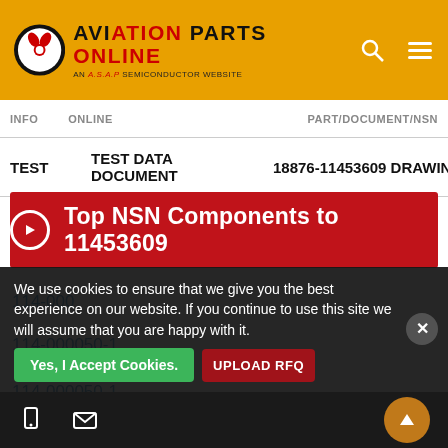AVIATION PARTS ONLINE — AN A.S.A.P SEMICONDUCTOR WEBSITE
| TYPE | ONLINE | PART/DOCUMENT/NSN |
| --- | --- | --- |
| TEST | TEST DATA DOCUMENT | 18876-11453609 DRAWING |
Top NSN Components to 11453609
114-000
114-000050-1
114-000050-1
114-000051-1
114-000051-1
We use cookies to ensure that we give you the best experience on our website. If you continue to use this site we will assume that you are happy with it.
Yes, I Accept Cookies. | UPLOAD RFQ